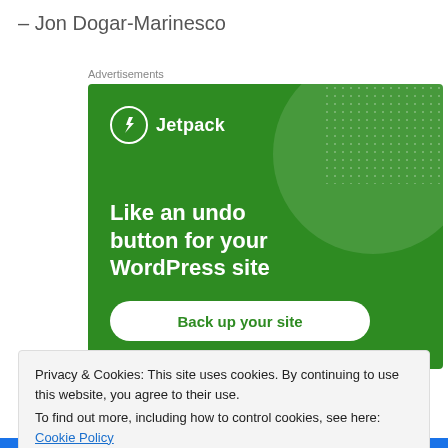– Jon Dogar-Marinesco
Advertisements
[Figure (illustration): Jetpack advertisement banner on a green background. Shows the Jetpack logo (lightning bolt icon in a circle) and text 'Like an undo button for your WordPress site' with a 'Back up your site' button.]
Privacy & Cookies: This site uses cookies. By continuing to use this website, you agree to their use.
To find out more, including how to control cookies, see here: Cookie Policy
Close and accept